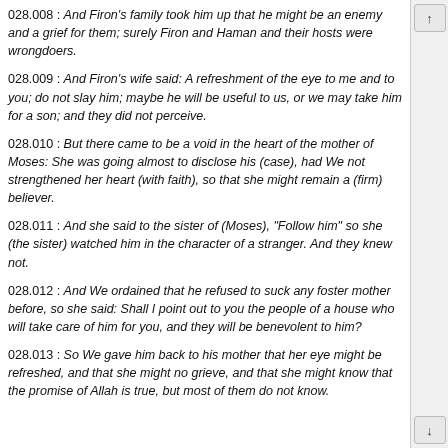028.008 : And Firon's family took him up that he might be an enemy and a grief for them; surely Firon and Haman and their hosts were wrongdoers.
028.009 : And Firon's wife said: A refreshment of the eye to me and to you; do not slay him; maybe he will be useful to us, or we may take him for a son; and they did not perceive.
028.010 : But there came to be a void in the heart of the mother of Moses: She was going almost to disclose his (case), had We not strengthened her heart (with faith), so that she might remain a (firm) believer.
028.011 : And she said to the sister of (Moses), "Follow him" so she (the sister) watched him in the character of a stranger. And they knew not.
028.012 : And We ordained that he refused to suck any foster mother before, so she said: Shall I point out to you the people of a house who will take care of him for you, and they will be benevolent to him?
028.013 : So We gave him back to his mother that her eye might be refreshed, and that she might no grieve, and that she might know that the promise of Allah is true, but most of them do not know.